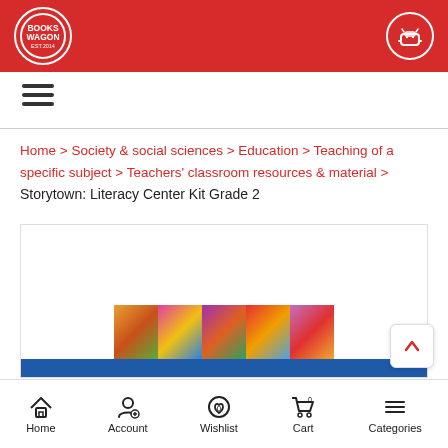Books Wagon
[Figure (screenshot): Books Wagon website screenshot showing breadcrumb navigation and product page for Storytown: Literacy Center Kit Grade 2]
Home > Society & social sciences > Education > Teaching of a specific subject > Teachers' classroom resources & material > Storytown: Literacy Center Kit Grade 2
[Figure (photo): Product image strip showing colorful book covers for Storytown Literacy Center Kit Grade 2]
Home  Account  Wishlist  Cart  Categories